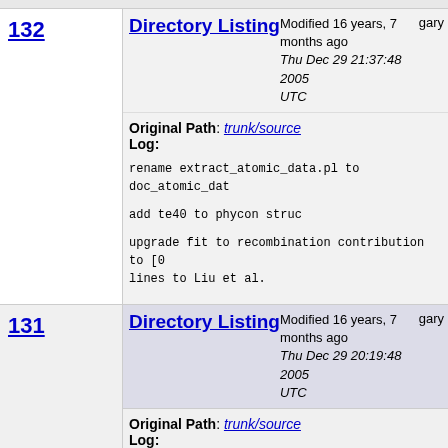132 Directory Listing Modified 16 years, 7 months ago Thu Dec 29 21:37:48 2005 UTC gary
Original Path: trunk/source
Log:
rename extract_atomic_data.pl to doc_atomic_dat
add te40 to phycon struc
upgrade fit to recombination contribution to [0 lines to Liu et al.
131 Directory Listing Modified 16 years, 7 months ago Thu Dec 29 20:19:48 2005 UTC gary
Original Path: trunk/source
Log:
scripts - cosmetic changes
mean.c fix typo at line 166
programs - change calls to cdGet that reference